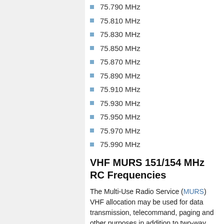75.790 MHz
75.810 MHz
75.830 MHz
75.850 MHz
75.870 MHz
75.890 MHz
75.910 MHz
75.930 MHz
75.950 MHz
75.970 MHz
75.990 MHz
VHF MURS 151/154 MHz RC Frequencies
The Multi-Use Radio Service (MURS) VHF allocation may be used for data transmission, telecommand, paging and other purposes in addition to two-way voice. Data transmissions may use A1D, A2B, A2D, F2B, F1D, or F2D emission methods. Voice transmissions on the MURS frequencies may use A3E emission (double side band AM voice), F3E or G3E (FM voice and PM or phase modulation voice - FM